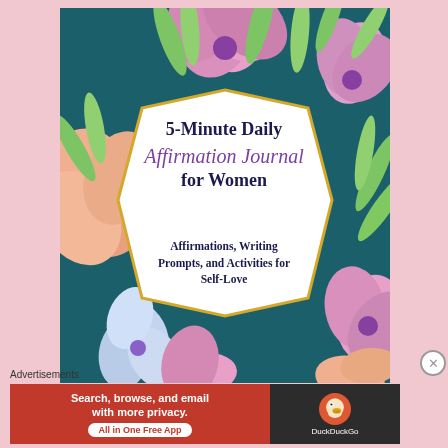[Figure (illustration): Book cover for '5-Minute Daily Affirmation Journal for Women: Affirmations, Writing Prompts, and Activities for Self-Love'. Dark teal background with illustrated pink and orange flowers and green leaves. A white geometric polygon shape in the center contains the book title text in dark navy and purple script.]
Advertisements
[Figure (screenshot): Advertisement banner for DuckDuckGo. Left side: orange background with text 'Search, browse, and email with more privacy. All in One Free App'. Right side: dark background with DuckDuckGo duck logo and brand name.]